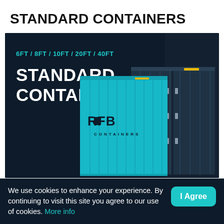STANDARD CONTAINERS
[Figure (illustration): Dark navy banner showing a cyan/teal shipping container in the foreground branded 'RFB CONTAINERS' and a dark shipping container behind it on the right. Text inside banner reads '6FT / 8FT / 10FT / 20FT / 40FT' in cyan and 'STANDARD CONTAINERS' in white bold.]
We use cookies to enhance your experience. By continuing to visit this site you agree to our use of cookies. More info